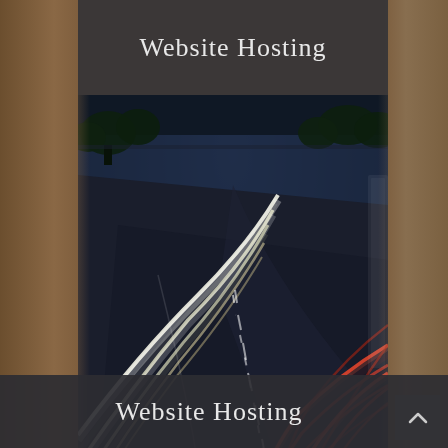Website Hosting
[Figure (photo): Long-exposure night photo of highway with light trails — white streaks on left lanes, red streaks on right lanes, curving road with dark asphalt, trees and sky visible at top.]
Website Hosting